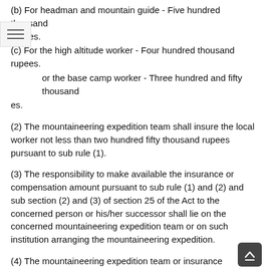(b) For headman and mountain guide - Five hundred thousand rupees.
(c) For the high altitude worker - Four hundred thousand rupees.
(d) For the base camp worker - Three hundred and fifty thousand rupees.
(2) The mountaineering expedition team shall insure the local worker not less than two hundred fifty thousand rupees pursuant to sub rule (1).
(3) The responsibility to make available the insurance or compensation amount pursuant to sub rule (1) and (2) and sub section (2) and (3) of section 25 of the Act to the concerned person or his/her successor shall lie on the concerned mountaineering expedition team or on such institution arranging the mountaineering expedition.
(4) The mountaineering expedition team or insurance company shall deposit the insurance or compensation amount at the Ministry if the person found minor to receive the amount pursuant to sub rule (1) and (2) and sub section (2) and (3) of Section 25 of the Act and the Ministry shall make appropriate management of his/her care until he /she become adult.